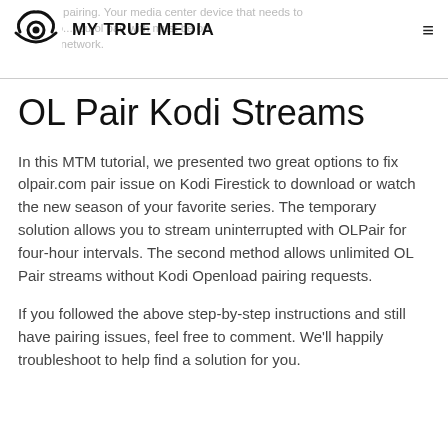MY TRUE MEDIA
OL Pair Kodi Streams
In this MTM tutorial, we presented two great options to fix olpair.com pair issue on Kodi Firestick to download or watch the new season of your favorite series. The temporary solution allows you to stream uninterrupted with OLPair for four-hour intervals. The second method allows unlimited OL Pair streams without Kodi Openload pairing requests.
If you followed the above step-by-step instructions and still have pairing issues, feel free to comment. We'll happily troubleshoot to help find a solution for you.